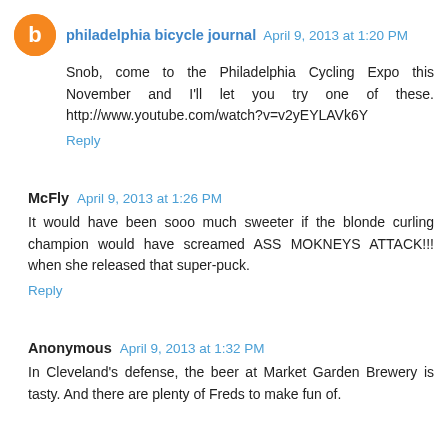philadelphia bicycle journal  April 9, 2013 at 1:20 PM
Snob, come to the Philadelphia Cycling Expo this November and I'll let you try one of these. http://www.youtube.com/watch?v=v2yEYLAVk6Y
Reply
McFly  April 9, 2013 at 1:26 PM
It would have been sooo much sweeter if the blonde curling champion would have screamed ASS MOKNEYS ATTACK!!! when she released that super-puck.
Reply
Anonymous  April 9, 2013 at 1:32 PM
In Cleveland's defense, the beer at Market Garden Brewery is tasty. And there are plenty of Freds to make fun of.